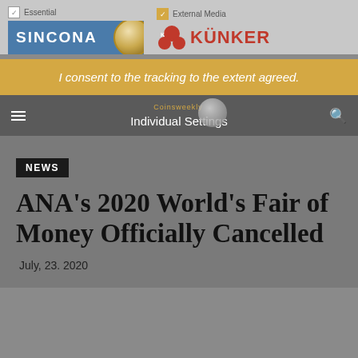[Figure (screenshot): Cookie consent banner with SINCONA and KÜNKER advertisement logos, Essential and External Media checkboxes]
I consent to the tracking to the extent agreed.
Individual Settings
NEWS
ANA's 2020 World's Fair of Money Officially Cancelled
July, 23. 2020